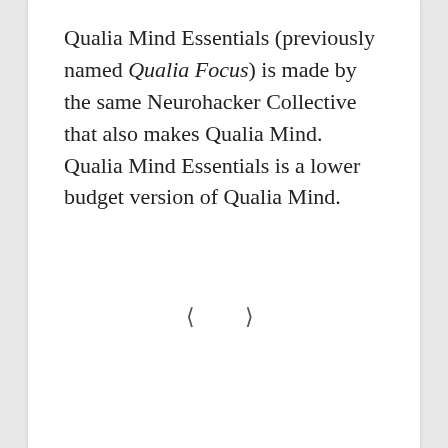Qualia Mind Essentials (previously named Qualia Focus) is made by the same Neurohacker Collective that also makes Qualia Mind. Qualia Mind Essentials is a lower budget version of Qualia Mind.
‹ ›